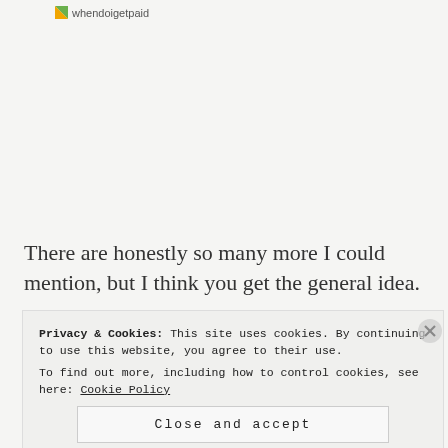whendoigetpaid
There are honestly so many more I could mention, but I think you get the general idea.
A FEW THINGS YOU
Privacy & Cookies: This site uses cookies. By continuing to use this website, you agree to their use.
To find out more, including how to control cookies, see here: Cookie Policy
Close and accept